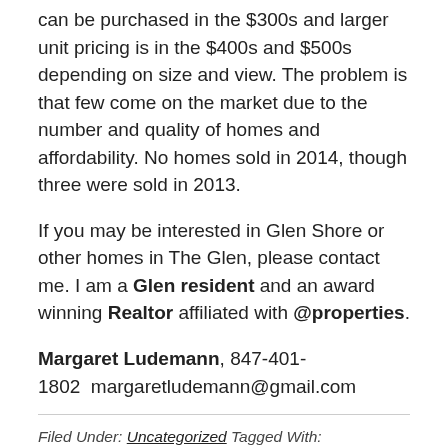can be purchased in the $300s and larger unit pricing is in the $400s and $500s depending on size and view. The problem is that few come on the market due to the number and quality of homes and affordability. No homes sold in 2014, though three were sold in 2013.
If you may be interested in Glen Shore or other homes in The Glen, please contact me. I am a Glen resident and an award winning Realtor affiliated with @properties.
Margaret Ludemann, 847-401-1802  margaretludemann@gmail.com
Filed Under: Uncategorized Tagged With: @properties, Attea Middle School, Chicago, condo, duplex, Gallery Park, Glen